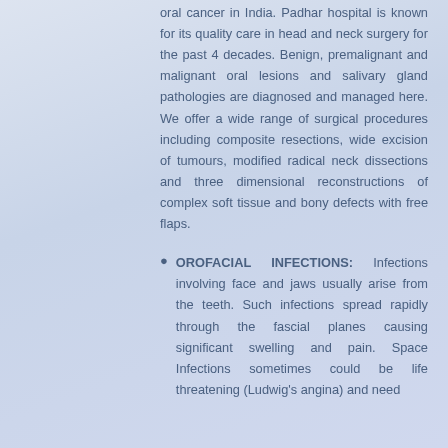oral cancer in India. Padhar hospital is known for its quality care in head and neck surgery for the past 4 decades. Benign, premalignant and malignant oral lesions and salivary gland pathologies are diagnosed and managed here. We offer a wide range of surgical procedures including composite resections, wide excision of tumours, modified radical neck dissections and three dimensional reconstructions of complex soft tissue and bony defects with free flaps.
OROFACIAL INFECTIONS: Infections involving face and jaws usually arise from the teeth. Such infections spread rapidly through the fascial planes causing significant swelling and pain. Space Infections sometimes could be life threatening (Ludwig's angina) and need